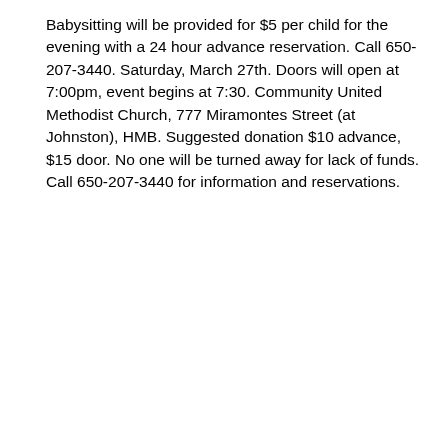Babysitting will be provided for $5 per child for the evening with a 24 hour advance reservation. Call 650-207-3440. Saturday, March 27th. Doors will open at 7:00pm, event begins at 7:30. Community United Methodist Church, 777 Miramontes Street (at Johnston), HMB. Suggested donation $10 advance, $15 door. No one will be turned away for lack of funds. Call 650-207-3440 for information and reservations.